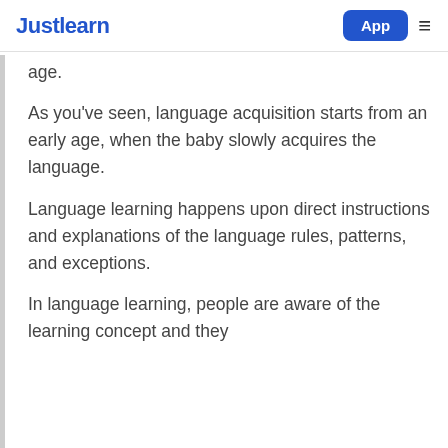Justlearn  App ≡
age.
As you've seen, language acquisition starts from an early age, when the baby slowly acquires the language.
Language learning happens upon direct instructions and explanations of the language rules, patterns, and exceptions.
In language learning, people are aware of the learning concept and they